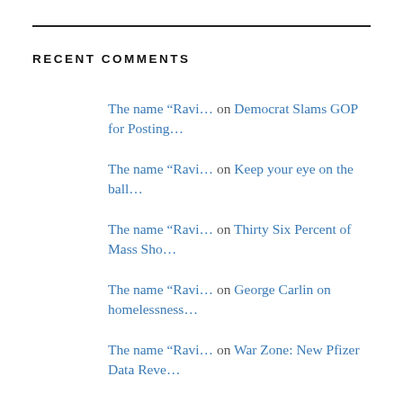RECENT COMMENTS
The name “Ravi… on Democrat Slams GOP for Posting…
The name “Ravi… on Keep your eye on the ball…
The name “Ravi… on Thirty Six Percent of Mass Sho…
The name “Ravi… on George Carlin on homelessness…
The name “Ravi… on War Zone: New Pfizer Data Reve…